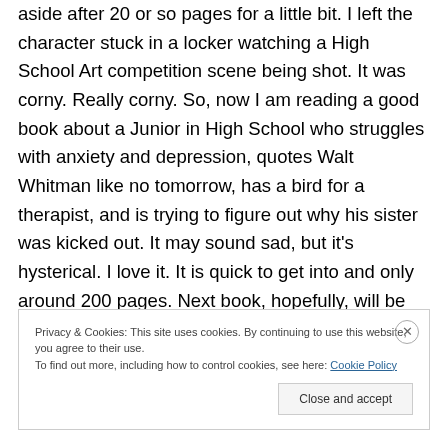aside after 20 or so pages for a little bit. I left the character stuck in a locker watching a High School Art competition scene being shot. It was corny. Really corny. So, now I am reading a good book about a Junior in High School who struggles with anxiety and depression, quotes Walt Whitman like no tomorrow, has a bird for a therapist, and is trying to figure out why his sister was kicked out. It may sound sad, but it's hysterical. I love it. It is quick to get into and only around 200 pages. Next book, hopefully, will be longer.
Privacy & Cookies: This site uses cookies. By continuing to use this website, you agree to their use. To find out more, including how to control cookies, see here: Cookie Policy